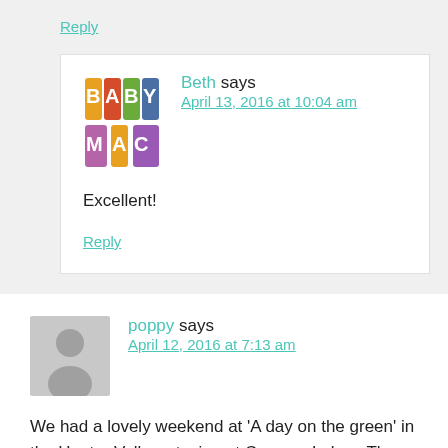Reply
[Figure (logo): Baby Mac logo — colorful stylized text reading BABY MAC]
Beth says
April 13, 2016 at 10:04 am
Excellent!
Reply
[Figure (illustration): Gray placeholder avatar silhouette of a person]
poppy says
April 12, 2016 at 7:13 am
We had a lovely weekend at 'A day on the green' in the Hunter Valley, staying at Cypress Lakes. The concert